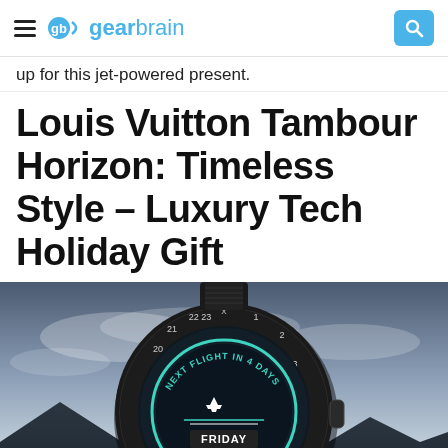gearbrain
up for this jet-powered present.
Louis Vuitton Tambour Horizon: Timeless Style – Luxury Tech Holiday Gift
[Figure (photo): Louis Vuitton Tambour Horizon smartwatch showing 'NEXT FLIGHT IN 4 DAYS', FRIDAY 07 OCT on the display, against a dramatic sky and mountain landscape background]